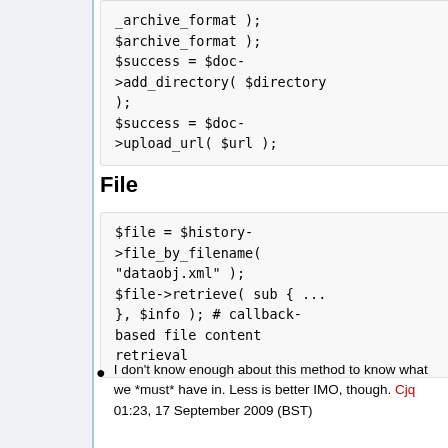[Figure (screenshot): Code block showing PHP: $archive_format ); $success = $doc->add_directory( $directory ); $success = $doc->upload_url( $url );]
File
[Figure (screenshot): Code block showing PHP: $file = $history->file_by_filename( "dataobj.xml" ); $file->retrieve( sub { ... }, $info ); # callback-based file content retrieval]
I don't know enough about this method to know what we *must* have in. Less is better IMO, though. Cjq 01:23, 17 September 2009 (BST)